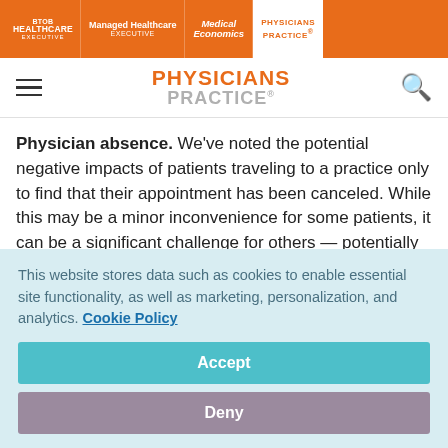BtoB HEALTHCARE EXECUTIVE | Managed Healthcare EXECUTIVE | Medical Economics | PHYSICIANS PRACTICE
PHYSICIANS PRACTICE
Physician absence. We've noted the potential negative impacts of patients traveling to a practice only to find that their appointment has been canceled. While this may be a minor inconvenience for some patients, it can be a significant challenge for others — potentially one that may affect their health if they have a more urgent care question or need
This website stores data such as cookies to enable essential site functionality, as well as marketing, personalization, and analytics. Cookie Policy
Accept
Deny